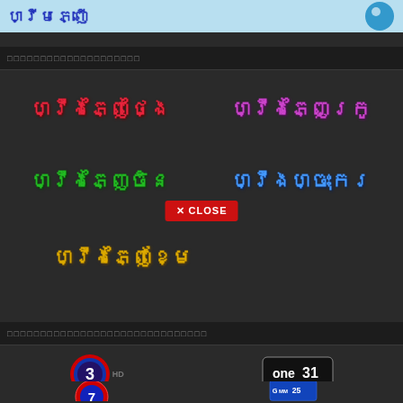[Figure (screenshot): Top banner with Khmer text in blue and a circular logo icon on a light blue background]
▬▬▬▬▬▬▬▬▬▬▬▬▬▬▬▬▬
[Figure (screenshot): Grid of Khmer-script category labels in various colors (red, pink, green, blue, gold) on dark background, with an X CLOSE button overlay]
▬▬▬▬▬▬▬▬▬▬▬▬▬▬▬▬▬▬▬▬▬▬▬▬▬▬
[Figure (logo): Channel 3 HD logo]
[Figure (logo): One 31 channel logo]
[Figure (logo): Channel 7 logo (partial)]
[Figure (logo): GMM 25 channel logo (partial)]